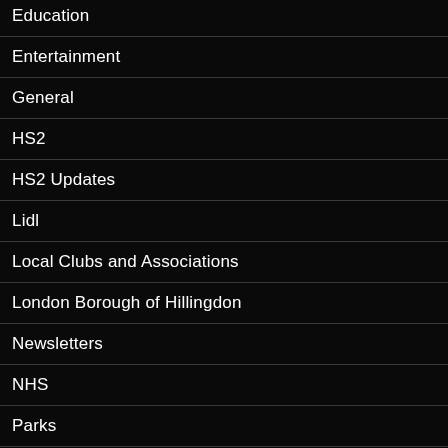Education
Entertainment
General
HS2
HS2 Updates
Lidl
Local Clubs and Associations
London Borough of Hillingdon
Newsletters
NHS
Parks
Planning
Police